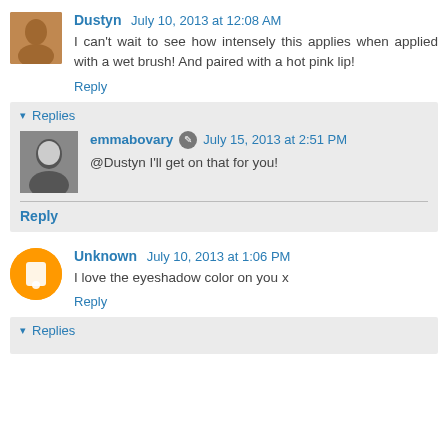Dustyn  July 10, 2013 at 12:08 AM
I can't wait to see how intensely this applies when applied with a wet brush! And paired with a hot pink lip!
Reply
Replies
emmabovary  July 15, 2013 at 2:51 PM
@Dustyn I'll get on that for you!
Reply
Unknown  July 10, 2013 at 1:06 PM
I love the eyeshadow color on you x
Reply
Replies